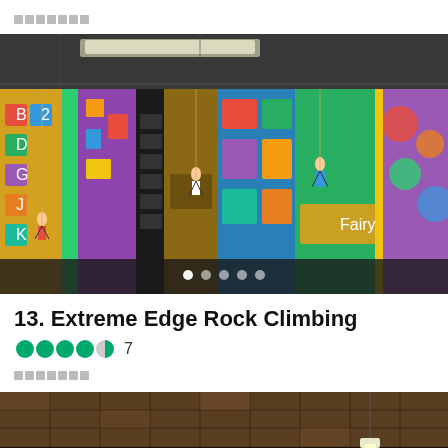▪▪▪▪▪▪▪
[Figure (photo): Indoor colorful rock climbing wall with multiple climbers ascending various routes decorated with bright murals and themed panels in a large warehouse-style facility]
13. Extreme Edge Rock Climbing
●●●●◐ 7
▪▪▪▪▪▪▪
[Figure (photo): Interior ceiling of a building with wooden panel ceiling and a hanging light fixture]